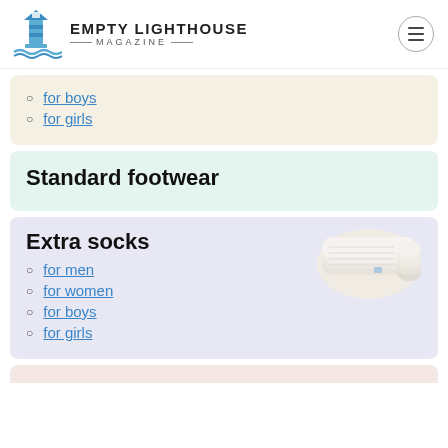Empty Lighthouse Magazine
for boys
for girls
Standard footwear
Extra socks
[Figure (photo): Stack of white ankle socks]
for men
for women
for boys
for girls